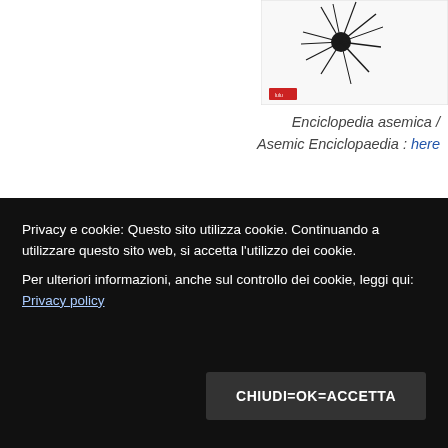[Figure (photo): Book cover image at top right: 'Enciclopedia asemica' with spiky abstract illustration on white background with small red publisher logo at bottom]
Enciclopedia asemica / Asemic Enciclopaedia : here
[Figure (photo): Book cover image at right: 'Quasi tutti' with teal/turquoise background featuring a white circle-slash symbol with letter 'n' inside]
Quasi tutti : here
Privacy e cookie: Questo sito utilizza cookie. Continuando a utilizzare questo sito web, si accetta l'utilizzo dei cookie.
Per ulteriori informazioni, anche sul controllo dei cookie, leggi qui: Privacy policy
CHIUDI=OK=ACCETTA